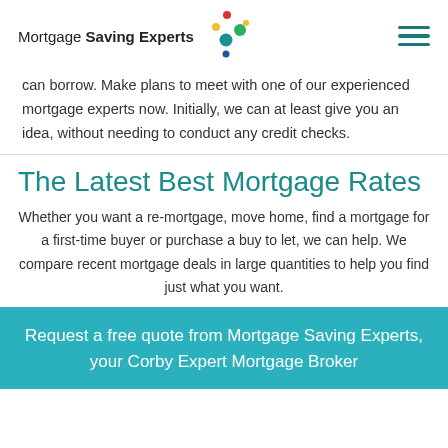Mortgage Saving Experts
can borrow. Make plans to meet with one of our experienced mortgage experts now. Initially, we can at least give you an idea, without needing to conduct any credit checks.
The Latest Best Mortgage Rates
Whether you want a re-mortgage, move home, find a mortgage for a first-time buyer or purchase a buy to let, we can help. We compare recent mortgage deals in large quantities to help you find just what you want.
Request a free quote from Mortgage Saving Experts, your Corby Expert Mortgage Broker